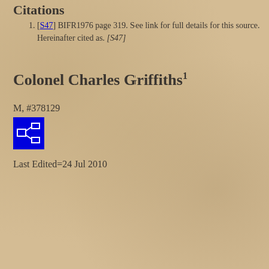Citations
[S47] BIFR1976 page 319. See link for full details for this source. Hereinafter cited as. [S47]
Colonel Charles Griffiths
M, #378129
[Figure (other): Blue icon button with network/hierarchy diagram symbol]
Last Edited=24 Jul 2010